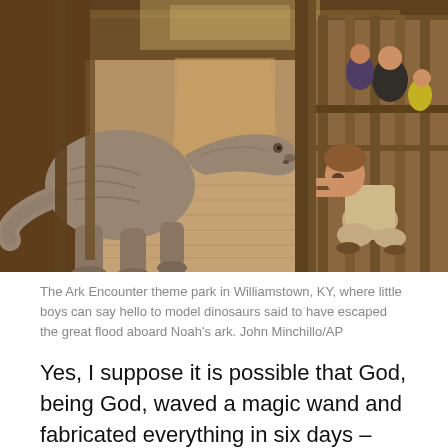[Figure (photo): Interior of the Ark Encounter theme park in Williamstown, KY. Shows a large wooden structure with tall vertical timber bars forming cage-like stalls. A large model dinosaur (grey, textured) stands in the walkway on the left. On the right side, a young boy crouches and peers through the wooden bars of the cage. Other visitors visible in background.]
The Ark Encounter theme park in Williamstown, KY, where little boys can say hello to model dinosaurs said to have escaped the great flood aboard Noah's ark. John Minchillo/AP
Yes, I suppose it is possible that God, being God, waved a magic wand and fabricated everything in six days – from